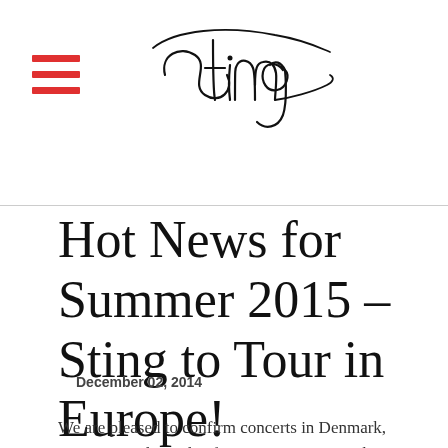Sting
Hot News for Summer 2015 – Sting to Tour in Europe!
December 02, 2014
We are pleased to confirm concerts in Denmark, Germany and Sweden for Summer 2015, with additional